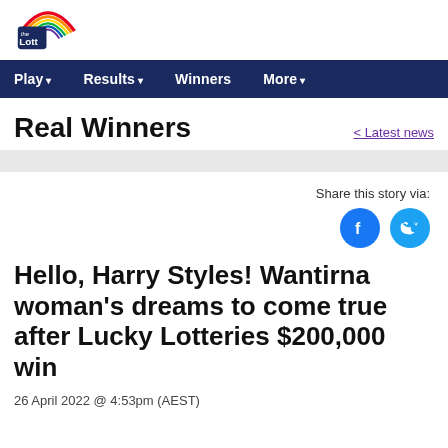[Figure (logo): The Lott logo with rainbow arc above text]
Play   Results   Winners   More
Real Winners
< Latest news
[Figure (infographic): Share this story via: Facebook and Twitter circular buttons]
Hello, Harry Styles! Wantirna woman's dreams to come true after Lucky Lotteries $200,000 win
26 April 2022 @ 4:53pm (AEST)